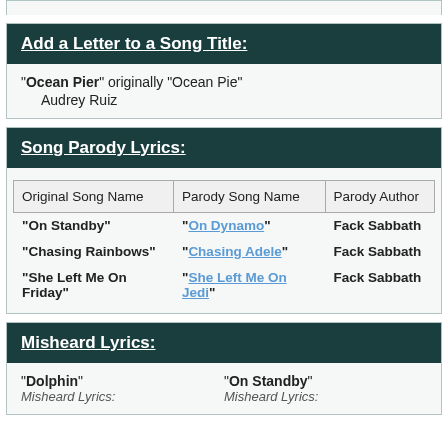Add a Letter to a Song Title:
"Ocean Pier" originally "Ocean Pie"
    Audrey Ruiz
Song Parody Lyrics:
| Original Song Name | Parody Song Name | Parody Author |
| --- | --- | --- |
| "On Standby" | "On Dynamo" | Fack Sabbath |
| "Chasing Rainbows" | "Chasing Adele" | Fack Sabbath |
| "She Left Me On Friday" | "She Left Me On Jedi" | Fack Sabbath |
Misheard Lyrics:
"Dolphin"    "On Standby"
    Misheard Lyrics:    Misheard Lyrics: